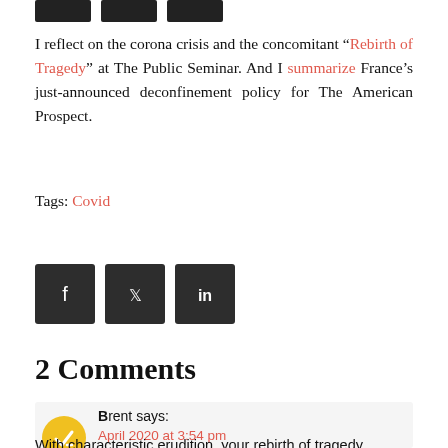[Figure (other): Three black icon buttons at the top (social share buttons, cropped)]
I reflect on the corona crisis and the concomitant “Rebirth of Tragedy” at The Public Seminar. And I summarize France’s just-announced deconfinement policy for The American Prospect.
Tags: Covid
[Figure (other): Three dark square social share icon buttons: Facebook, Twitter, LinkedIn]
2 Comments
Brent says:
April 2020 at 3:54 pm
With characteristic erudition, your rebirth of tragedy...